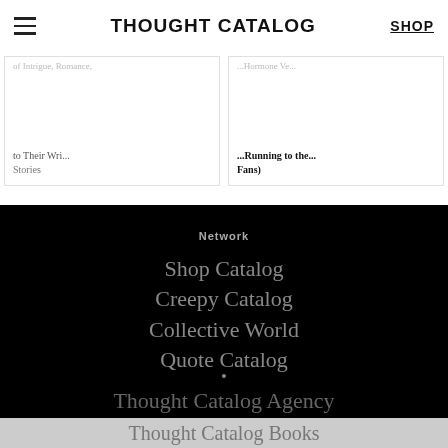THOUGHT CATALOG | SHOP
Stories
Fans)
Network
Shop Catalog
Creepy Catalog
Collective World
Quote Catalog
Thought Catalog Agency
Thought Catalog Books